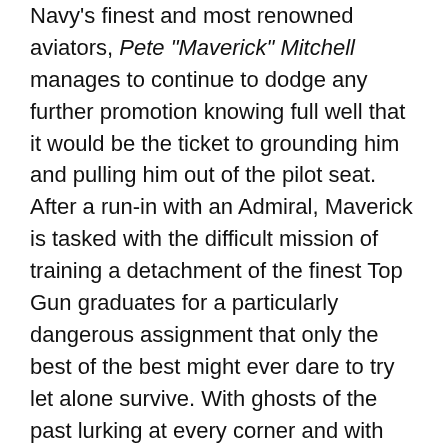Navy's finest and most renowned aviators, Pete "Maverick" Mitchell manages to continue to dodge any further promotion knowing full well that it would be the ticket to grounding him and pulling him out of the pilot seat. After a run-in with an Admiral, Maverick is tasked with the difficult mission of training a detachment of the finest Top Gun graduates for a particularly dangerous assignment that only the best of the best might ever dare to try let alone survive. With ghosts of the past lurking at every corner and with every decision, Maverick not only has to find a way to bring these young, confident pilots to fully realize themselves - but he must also overcome the grief, guilt and burdens of a time since gone.
REVIEW:
In critic Top Gun: Maverick continues to...